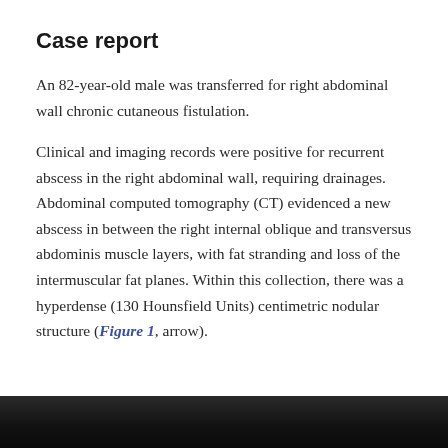Case report
An 82-year-old male was transferred for right abdominal wall chronic cutaneous fistulation.
Clinical and imaging records were positive for recurrent abscess in the right abdominal wall, requiring drainages. Abdominal computed tomography (CT) evidenced a new abscess in between the right internal oblique and transversus abdominis muscle layers, with fat stranding and loss of the intermuscular fat planes. Within this collection, there was a hyperdense (130 Hounsfield Units) centimetric nodular structure (Figure 1, arrow).
[Figure (photo): Bottom portion of a CT scan image showing abdominal structures, partially visible at the bottom of the page.]